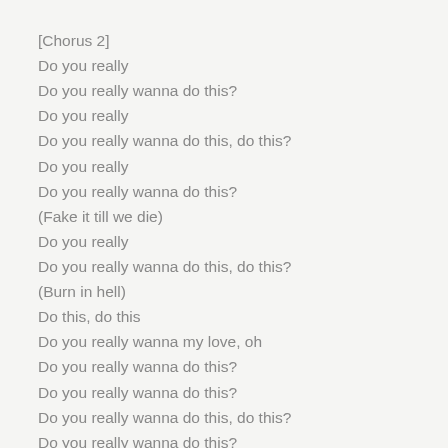[Chorus 2]
Do you really
Do you really wanna do this?
Do you really
Do you really wanna do this, do this?
Do you really
Do you really wanna do this?
(Fake it till we die)
Do you really
Do you really wanna do this, do this?
(Burn in hell)
Do this, do this
Do you really wanna my love, oh
Do you really wanna do this?
Do you really wanna do this?
Do you really wanna do this, do this?
Do you really wanna do this?
[Outro]
I said no, no